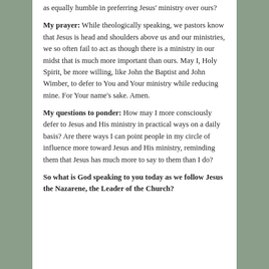as equally humble in preferring Jesus' ministry over ours?
My prayer: While theologically speaking, we pastors know that Jesus is head and shoulders above us and our ministries, we so often fail to act as though there is a ministry in our midst that is much more important than ours. May I, Holy Spirit, be more willing, like John the Baptist and John Wimber, to defer to You and Your ministry while reducing mine. For Your name's sake. Amen.
My questions to ponder: How may I more consciously defer to Jesus and His ministry in practical ways on a daily basis? Are there ways I can point people in my circle of influence more toward Jesus and His ministry, reminding them that Jesus has much more to say to them than I do?
So what is God speaking to you today as we follow Jesus the Nazarene, the Leader of the Church?